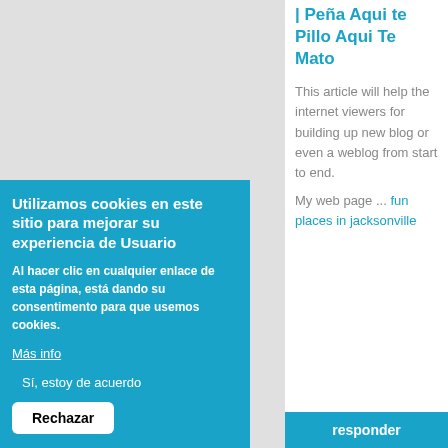[Figure (screenshot): Gray background area in left column representing webpage content area]
Utilizamos cookies en este sitio para mejorar su experiencia de Usuario
Al hacer clic en cualquier enlace de esta página, está dando su consentimento para que usemos cookies.
Más info
Sí, estoy de acuerdo
Rechazar
| Peña Aqui te Pillo Aqui Te Mato
This article will help the internet viewers for building up new blog or even a weblog from start to end.
My web page ... fun places in jacksonville
responder